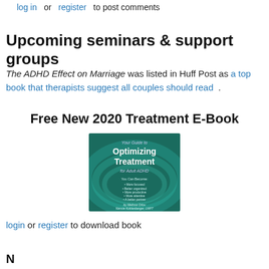log in or register to post comments
Upcoming seminars & support groups
The ADHD Effect on Marriage was listed in Huff Post as a top book that therapists suggest all couples should read .
Free New 2020 Treatment E-Book
[Figure (illustration): Book cover: 'Your Guide to Optimizing Treatment for Adult ADHD' by Melissa Orlov, Nancie Kohlenberger, LMFT. Teal/green background with wave design.]
login or register to download book
N